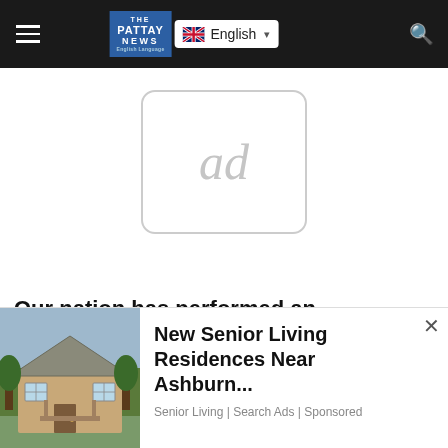THE PATTAY NEWS | English
[Figure (other): Advertisement placeholder box with 'ad' text in grey]
Our nation has performed an extraordinary feat in the last months that we can all be very proud of everyone's enormous contributions to those
[Figure (other): New Senior Living Residences Near Ashburn... - Senior Living | Search Ads | Sponsored advertisement overlay with house photo]
[Figure (other): Partial Senior BOGO advertisement overlay at bottom]